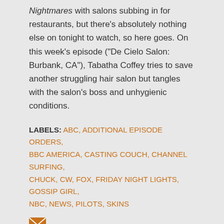Nightmares with salons subbing in for restaurants, but there's absolutely nothing else on tonight to watch, so here goes. On this week's episode ("De Cielo Salon: Burbank, CA"), Tabatha Coffey tries to save another struggling hair salon but tangles with the salon's boss and unhygienic conditions.
LABELS: ABC, ADDITIONAL EPISODE ORDERS, BBC AMERICA, CASTING COUCH, CHANNEL SURFING, CHUCK, CW, FOX, FRIDAY NIGHT LIGHTS, GOSSIP GIRL, NBC, NEWS, PILOTS, SKINS
[Figure (other): Email/envelope icon in orange]
SHARE
Comments